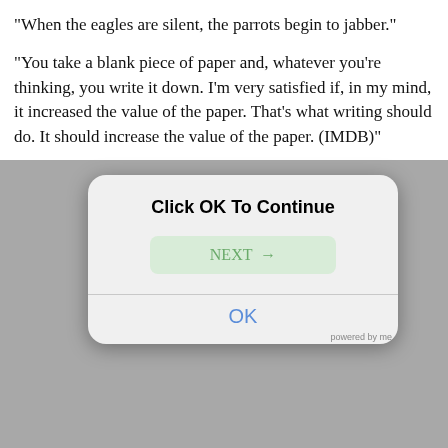"When the eagles are silent, the parrots begin to jabber."
"You take a blank piece of paper and, whatever you're thinking, you write it down. I'm very satisfied if, in my mind, it increased the value of the paper. That's what writing should do. It should increase the value of the paper. (IMDB)"
[Figure (screenshot): iOS-style dialog box with title 'Click OK To Continue', a green 'NEXT →' button, a horizontal divider, and a blue 'OK' button below.]